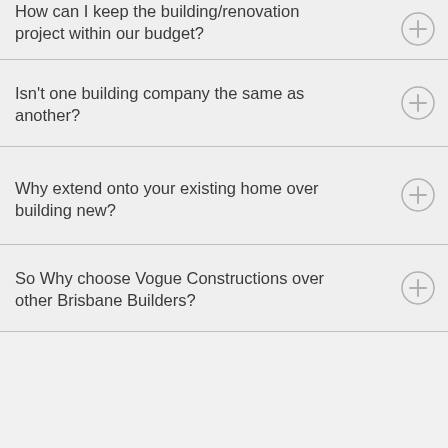How can I keep the building/renovation project within our budget?
Isn't one building company the same as another?
Why extend onto your existing home over building new?
So Why choose Vogue Constructions over other Brisbane Builders?